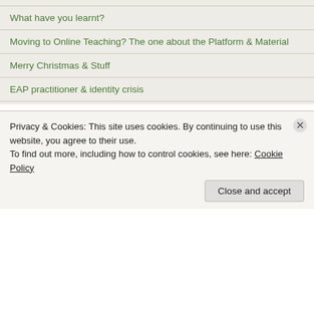What have you learnt?
Moving to Online Teaching? The one about the Platform & Material
Merry Christmas & Stuff
EAP practitioner & identity crisis
I support Colour Blind Awareness Org
[Figure (logo): Colour Blind Awareness butterfly logo made of coloured dots with text COLOUR BLIND AWARENESS]
Privacy & Cookies: This site uses cookies. By continuing to use this website, you agree to their use.
To find out more, including how to control cookies, see here: Cookie Policy
Close and accept